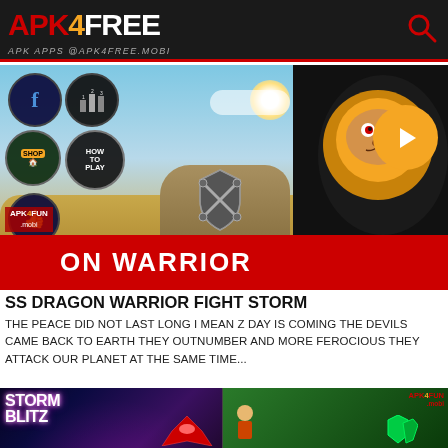APK4FREE — APK APPS @APK4FREE.MOBI
[Figure (screenshot): SS Dragon Warrior Fight Storm game screenshot showing game UI with Facebook button, leaderboard, shop, how to play circles, a warrior character in desert landscape, shield/sword logo, and lion logo with play button. APK4FUN.mobi watermark. Red banner at bottom reading 'ON WARRIOR'.]
SS DRAGON WARRIOR FIGHT STORM
THE PEACE DID NOT LAST LONG I MEAN Z DAY IS COMING THE DEVILS CAME BACK TO EARTH THEY OUTNUMBER AND MORE FEROCIOUS THEY ATTACK OUR PLANET AT THE SAME TIME...
[Figure (screenshot): Storm Blitz game promotional image with glowing purple/blue space background and red spaceship]
[Figure (screenshot): Unknown game screenshot with green island/jungle background, character on motorcycle and gems, APK4FUN.mobi logo]